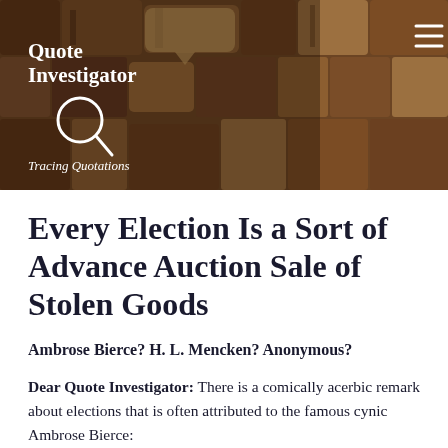[Figure (photo): Header banner showing close-up of vintage wooden letterpress type blocks in warm brown tones with the Quote Investigator logo, magnifying glass icon, and tagline 'Tracing Quotations' overlaid on the left, and a hamburger menu icon on the right.]
Every Election Is a Sort of Advance Auction Sale of Stolen Goods
Ambrose Bierce? H. L. Mencken? Anonymous?
Dear Quote Investigator: There is a comically acerbic remark about elections that is often attributed to the famous cynic Ambrose Bierce: